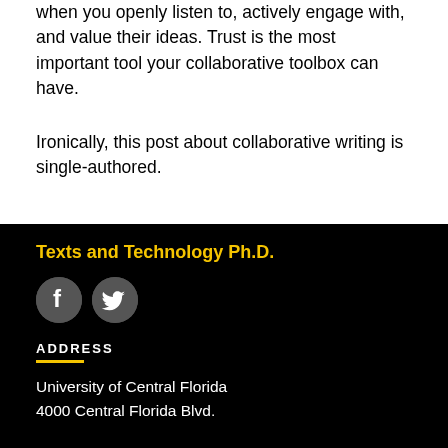when you openly listen to, actively engage with, and value their ideas. Trust is the most important tool your collaborative toolbox can have.
Ironically, this post about collaborative writing is single-authored.
Texts and Technology Ph.D.
[Figure (logo): Facebook and Twitter social media icons as dark grey circles with white logos]
ADDRESS
University of Central Florida
4000 Central Florida Blvd.